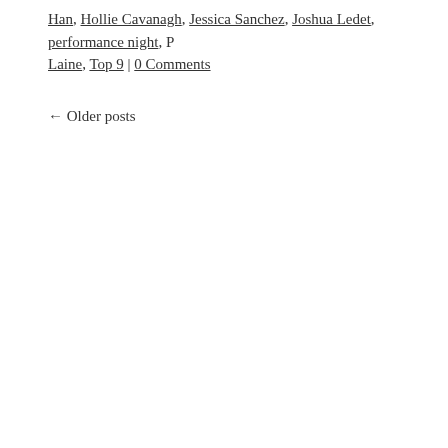Han, Hollie Cavanagh, Jessica Sanchez, Joshua Ledet, performance night, P... Laine, Top 9 | 0 Comments
← Older posts